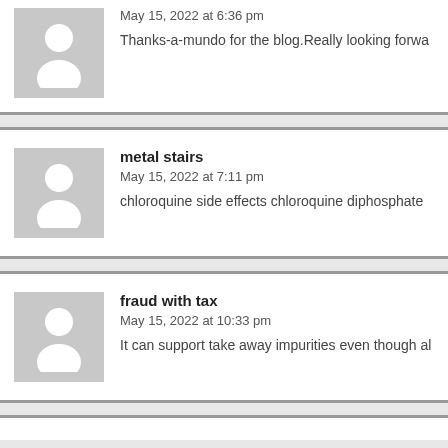May 15, 2022 at 6:36 pm
Thanks-a-mundo for the blog.Really looking forwa
metal stairs
May 15, 2022 at 7:11 pm
chloroquine side effects chloroquine diphosphate
fraud with tax
May 15, 2022 at 10:33 pm
It can support take away impurities even though al